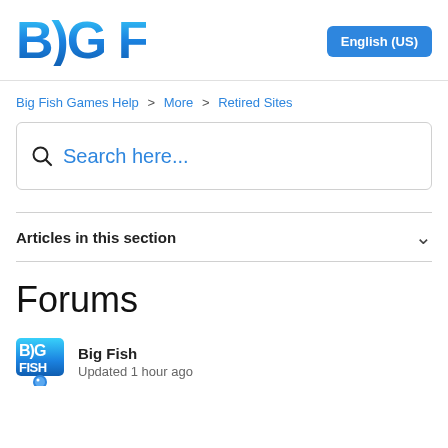[Figure (logo): Big Fish Games logo in blue gradient text]
English (US)
Big Fish Games Help > More > Retired Sites
Search here...
Articles in this section
Forums
Big Fish
Updated 1 hour ago